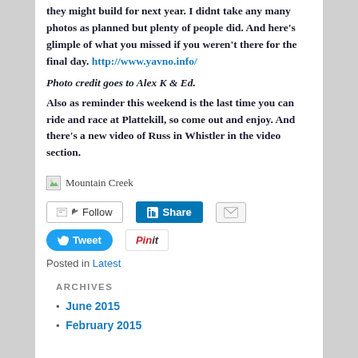they might build for next year. I didnt take any many photos as planned but plenty of people did. And here's glimple of what you missed if you weren't there for the final day. http://www.yavno.info/
Photo credit goes to Alex K & Ed.
Also as reminder this weekend is the last time you can ride and race at Plattekill, so come out and enjoy. And there's a new video of Russ in Whistler in the video section.
[Figure (illustration): Broken image placeholder labeled 'Mountain Creek']
[Figure (screenshot): Social sharing buttons: Follow, Share (LinkedIn), Email, Tweet, Pin it]
Posted in Latest
ARCHIVES
June 2015
February 2015